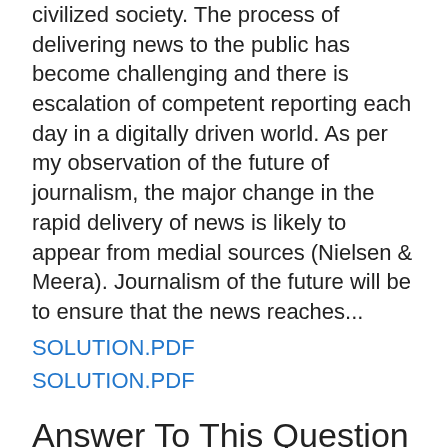civilized society. The process of delivering news to the public has become challenging and there is escalation of competent reporting each day in a digitally driven world. As per my observation of the future of journalism, the major change in the rapid delivery of news is likely to appear from medial sources (Nielsen & Meera). Journalism of the future will be to ensure that the news reaches...
SOLUTION.PDF
SOLUTION.PDF
Answer To This Question Is Available To Download
Related Questions & Answers
Sheet1 Self-Evaluation ScoreInstructor Score Introduction Requirement fully met Not Met introduction briefly describe the context of the